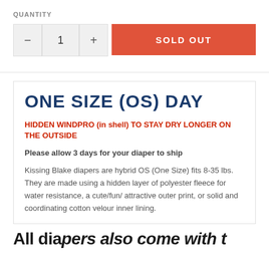QUANTITY
− 1 + SOLD OUT
ONE SIZE (OS) DAY
HIDDEN WINDPRO (in shell) TO STAY DRY LONGER ON THE OUTSIDE
Please allow 3 days for your diaper to ship
Kissing Blake diapers are hybrid OS (One Size) fits 8-35 lbs. They are made using a hidden layer of polyester fleece for water resistance, a cute/fun/ attractive outer print, or solid and coordinating cotton velour inner lining.
All diapers also come with…